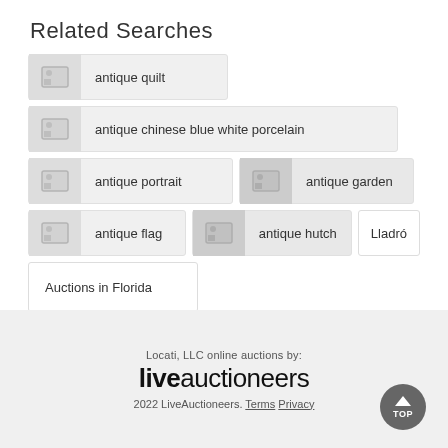Related Searches
antique quilt
antique chinese blue white porcelain
antique portrait
antique garden
antique flag
antique hutch
Lladró
Auctions in Florida
Locati, LLC online auctions by: liveauctioneers 2022 LiveAuctioneers. Terms Privacy